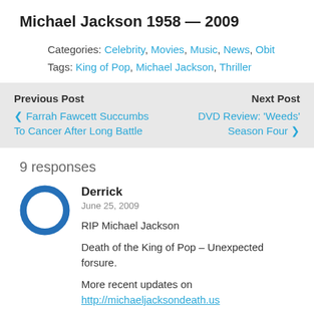Michael Jackson 1958 — 2009
Categories: Celebrity, Movies, Music, News, Obit
Tags: King of Pop, Michael Jackson, Thriller
Previous Post
‹ Farrah Fawcett Succumbs To Cancer After Long Battle
Next Post
DVD Review: 'Weeds' Season Four ›
9 responses
Derrick
June 25, 2009
RIP Michael Jackson
Death of the King of Pop – Unexpected forsure.
More recent updates on http://michaeljacksondeath.us
Reply